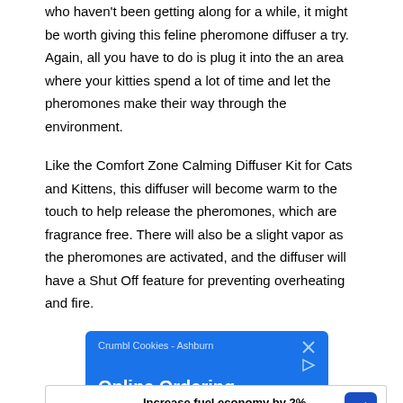who haven't been getting along for a while, it might be worth giving this feline pheromone diffuser a try. Again, all you have to do is plug it into the an area where your kitties spend a lot of time and let the pheromones make their way through the environment.
Like the Comfort Zone Calming Diffuser Kit for Cats and Kittens, this diffuser will become warm to the touch to help release the pheromones, which are fragrance free. There will also be a slight vapor as the pheromones are activated, and the diffuser will have a Shut Off feature for preventing overheating and fire.
[Figure (screenshot): Blue advertisement banner for Crumbl Cookies - Ashburn showing 'Online Ordering Available' text with close and play icons]
[Figure (screenshot): White advertisement banner for Exxon showing 'Increase fuel economy by 2%' with Exxon logo and blue navigation arrow icon]